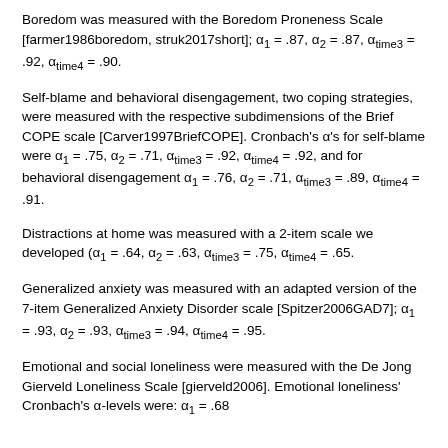Boredom was measured with the Boredom Proneness Scale [farmer1986boredom, struk2017short]; α₁ = .87, α₂ = .87, α_time3 = .92, α_time4 = .90.
Self-blame and behavioral disengagement, two coping strategies, were measured with the respective subdimensions of the Brief COPE scale [Carver1997BriefCOPE]. Cronbach's α's for self-blame were α₁ = .75, α₂ = .71, α_time3 = .92, α_time4 = .92, and for behavioral disengagement α₁ = .76, α₂ = .71, α_time3 = .89, α_time4 = .91.
Distractions at home was measured with a 2-item scale we developed (α₁ = .64, α₂ = .63, α_time3 = .75, α_time4 = .65.
Generalized anxiety was measured with an adapted version of the 7-item Generalized Anxiety Disorder scale [Spitzer2006GAD7]; α₁ = .93, α₂ = .93, α_time3 = .94, α_time4 = .95.
Emotional and social loneliness were measured with the De Jong Gierveld Loneliness Scale [gierveld2006]. Emotional loneliness' Cronbach's α-levels were: α₁ = .68